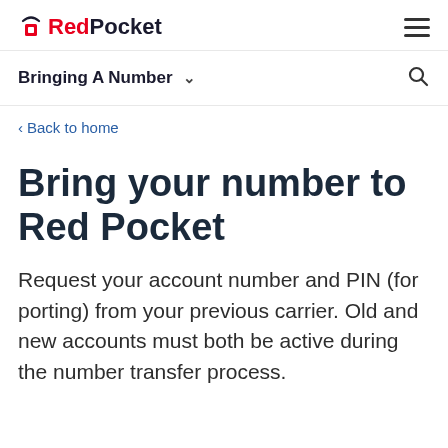RedPocket [logo] [hamburger menu]
Bringing A Number [dropdown] [search]
< Back to home
Bring your number to Red Pocket
Request your account number and PIN (for porting) from your previous carrier. Old and new accounts must both be active during the number transfer process.